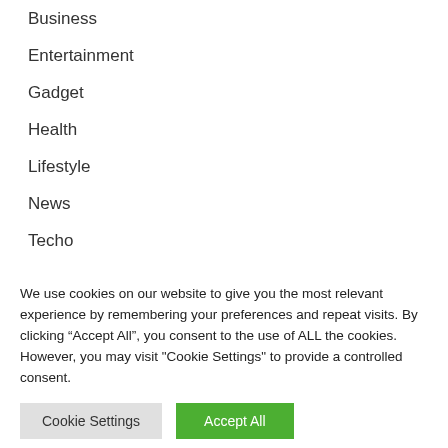Business
Entertainment
Gadget
Health
Lifestyle
News
Techo
Uncategorized
We use cookies on our website to give you the most relevant experience by remembering your preferences and repeat visits. By clicking “Accept All”, you consent to the use of ALL the cookies. However, you may visit "Cookie Settings" to provide a controlled consent.
Cookie Settings | Accept All